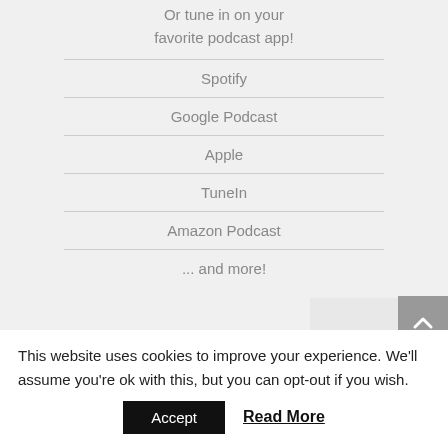Or tune in on your favorite podcast app!
Spotify
Google Podcast
Apple
TuneIn
Amazon Podcast
... and more!
WHAT'S HOT?! – OUR LATEST WEEKLY
This website uses cookies to improve your experience. We'll assume you're ok with this, but you can opt-out if you wish.
Accept   Read More